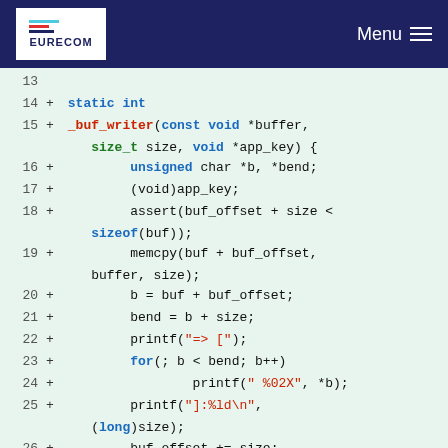EURECOM | Menu
[Figure (screenshot): Code diff viewer showing lines 14-29 of a C function _buf_writer with syntax highlighting on a light green background. Line numbers and + diff markers are shown.]